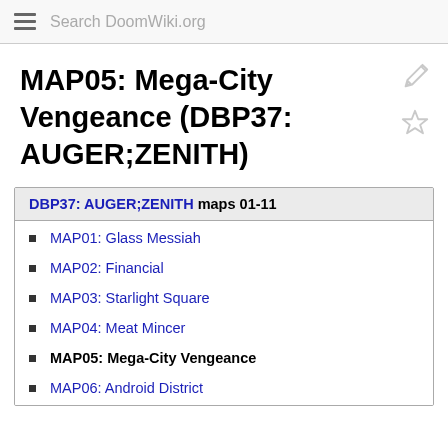Search DoomWiki.org
MAP05: Mega-City Vengeance (DBP37: AUGER;ZENITH)
| DBP37: AUGER;ZENITH maps 01-11 |
| --- |
| MAP01: Glass Messiah |
| MAP02: Financial |
| MAP03: Starlight Square |
| MAP04: Meat Mincer |
| MAP05: Mega-City Vengeance |
| MAP06: Android District |